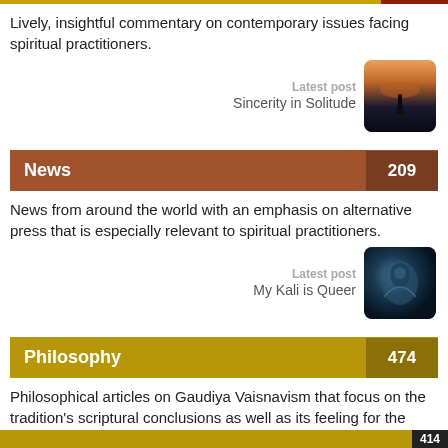Lively, insightful commentary on contemporary issues facing spiritual practitioners.
Latest post
Sincerity in Solitude
[Figure (photo): Thumbnail image showing a silhouette on a hilltop at sunset with warm orange and dark tones]
News 209
News from around the world with an emphasis on alternative press that is especially relevant to spiritual practitioners.
Latest post
My Kali is Queer
[Figure (photo): Thumbnail image showing a blue-toned artistic figure, possibly deity illustration]
Philosophy 474
Philosophical articles on Gaudiya Vaisnavism that focus on the tradition's scriptural conclusions as well as its feeling for the nature of ultimate reality.
Latest post
Regulated and Spontaneous Devotion
414